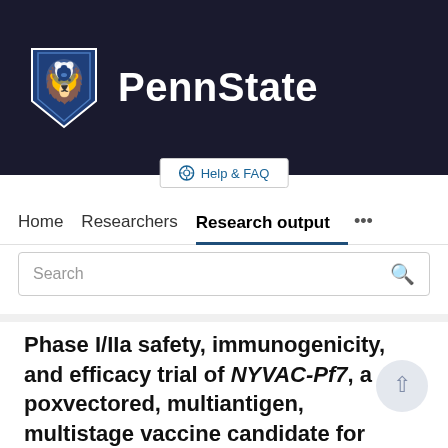[Figure (logo): Penn State university logo with lion mascot shield in blue and white, and 'PennState' text in white on dark navy background]
Help & FAQ
Home   Researchers   Research output   ...
Search
Phase I/IIa safety, immunogenicity, and efficacy trial of NYVAC-Pf7, a poxvectored, multiantigen, multistage vaccine candidate for